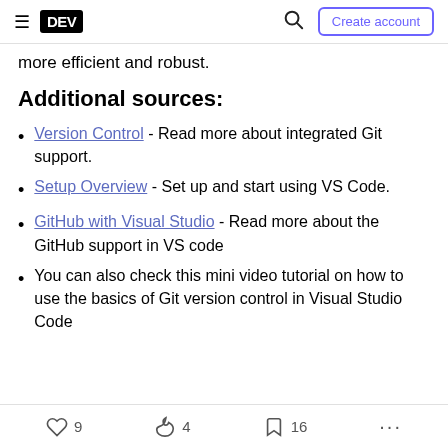DEV — Create account
…more efficient and robust.
Additional sources:
Version Control - Read more about integrated Git support.
Setup Overview - Set up and start using VS Code.
GitHub with Visual Studio - Read more about the GitHub support in VS code
You can also check this mini video tutorial on how to use the basics of Git version control in Visual Studio Code
♡ 9   🔥 4   🔖 16   ...